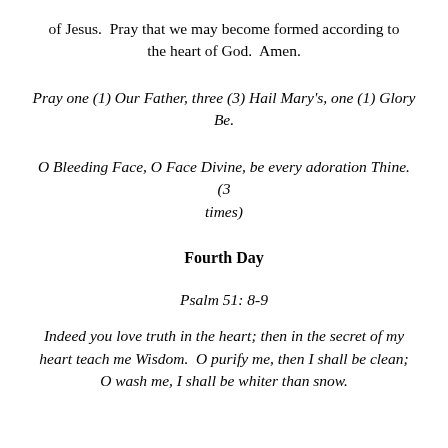of Jesus.  Pray that we may become formed according to the heart of God.  Amen.
Pray one (1) Our Father, three (3) Hail Mary's, one (1) Glory Be.
O Bleeding Face, O Face Divine, be every adoration Thine. (3 times)
Fourth Day
Psalm 51: 8-9
Indeed you love truth in the heart; then in the secret of my heart teach me Wisdom.  O purify me, then I shall be clean; O wash me, I shall be whiter than snow.